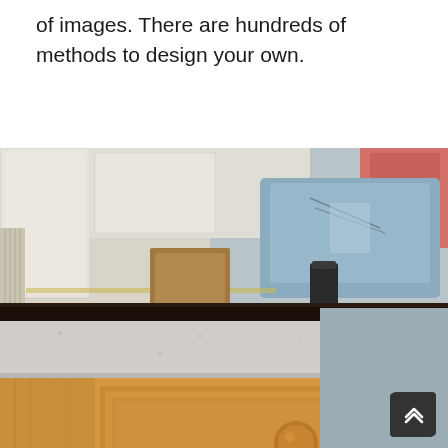of images. There are hundreds of methods to design your own.
[Figure (photo): A wooden kitchen island or table with a light granite/stone countertop and round wooden drawer knobs. The furniture has two drawers visible and a lower shelf with a wine rack. The background shows a room with white cabinets and various items. A scroll-to-top button is overlaid in the bottom-right corner.]